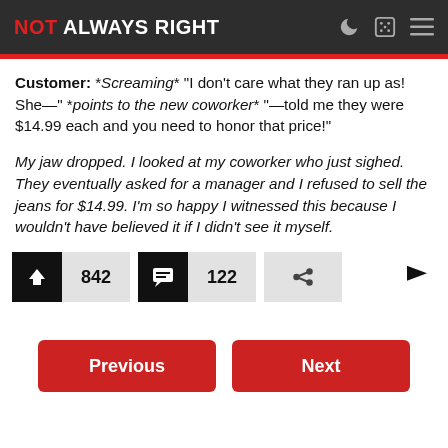NOT ALWAYS RIGHT
Customer: *Screaming* "I don't care what they ran up as! She—" *points to the new coworker* "—told me they were $14.99 each and you need to honor that price!"
My jaw dropped. I looked at my coworker who just sighed. They eventually asked for a manager and I refused to sell the jeans for $14.99. I'm so happy I witnessed this because I wouldn't have believed it if I didn't see it myself.
842 upvotes, 122 comments
Previous | Next